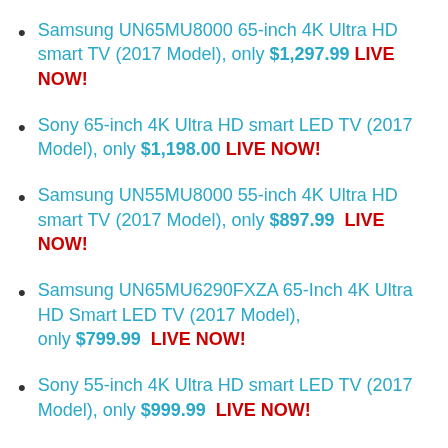Samsung UN65MU8000 65-inch 4K Ultra HD smart TV (2017 Model), only $1,297.99 LIVE NOW!
Sony 65-inch 4K Ultra HD smart LED TV (2017 Model), only $1,198.00 LIVE NOW!
Samsung UN55MU8000 55-inch 4K Ultra HD smart TV (2017 Model), only $897.99  LIVE NOW!
Samsung UN65MU6290FXZA 65-Inch 4K Ultra HD Smart LED TV (2017 Model), only $799.99  LIVE NOW!
Sony 55-inch 4K Ultra HD smart LED TV (2017 Model), only $999.99  LIVE NOW!